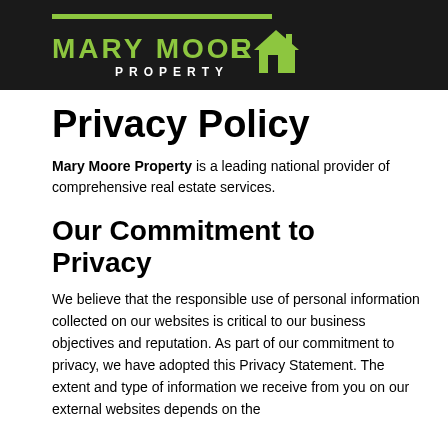[Figure (logo): Mary Moore Property logo with green house icon on black background]
Privacy Policy
Mary Moore Property is a leading national provider of comprehensive real estate services.
Our Commitment to Privacy
We believe that the responsible use of personal information collected on our websites is critical to our business objectives and reputation. As part of our commitment to privacy, we have adopted this Privacy Statement. The extent and type of information we receive from you on our external websites depends on the